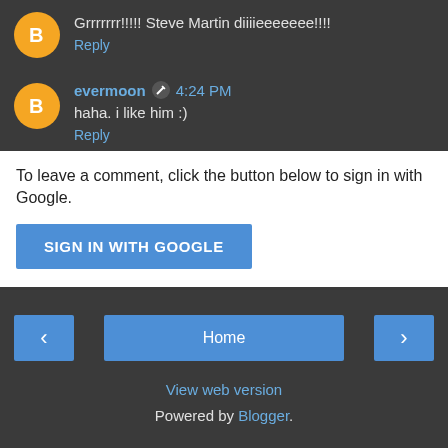Grrrrrrr!!!!! Steve Martin diiiieeeeeee!!!!
Reply
evermoon  4:24 PM
haha. i like him :)
Reply
To leave a comment, click the button below to sign in with Google.
SIGN IN WITH GOOGLE
Home
View web version
Powered by Blogger.